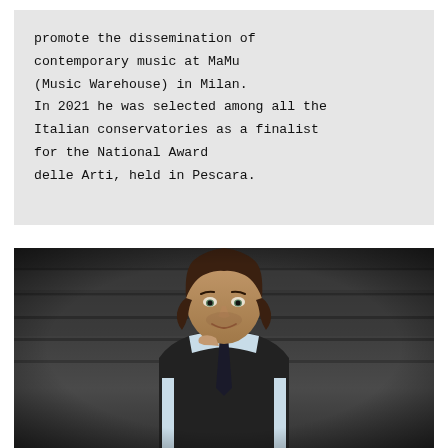promote the dissemination of contemporary music at MaMu (Music Warehouse) in Milan. In 2021 he was selected among all the Italian conservatories as a finalist for the National Award delle Arti, held in Pescara.
[Figure (photo): Portrait photograph of a young man with medium-length dark brown hair, light stubble, wearing a white shirt and dark vest with a dark tie, resting his chin on his hand, smiling slightly. Background shows stone steps in dark, muted tones.]